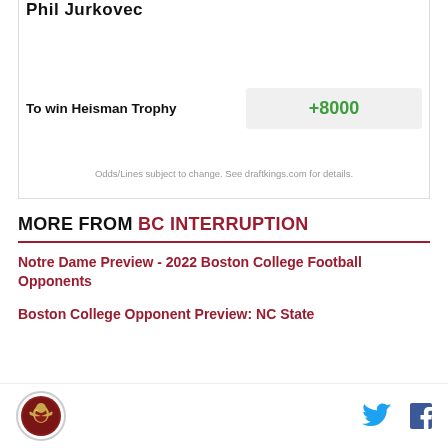Phil Jurkovec
| Bet Type | Odds |
| --- | --- |
| To win Heisman Trophy | +8000 |
Odds/Lines subject to change. See draftkings.com for details.
MORE FROM BC INTERRUPTION
Notre Dame Preview - 2022 Boston College Football Opponents
Boston College Opponent Preview: NC State
[Figure (logo): BC Interruption circular logo with eagle emblem]